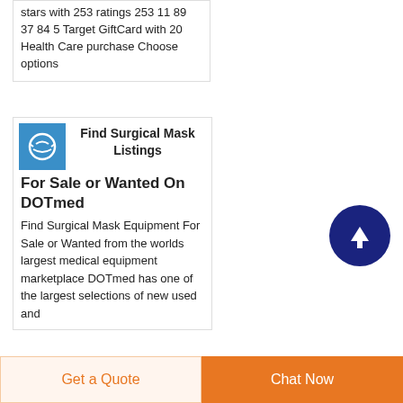stars with 253 ratings 253 11 89 37 84 5 Target GiftCard with 20 Health Care purchase Choose options
[Figure (illustration): Blue square icon with a surgical mask / medical equipment graphic in white]
Find Surgical Mask Listings For Sale or Wanted On DOTmed
Find Surgical Mask Equipment For Sale or Wanted from the worlds largest medical equipment marketplace DOTmed has one of the largest selections of new used and
[Figure (other): Dark navy blue circular scroll-to-top button with white upward arrow]
Get a Quote
Chat Now